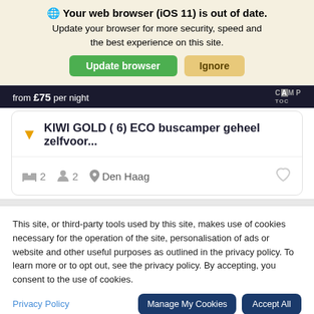Your web browser (iOS 11) is out of date. Update your browser for more security, speed and the best experience on this site.
Update browser | Ignore
from £75 per night
KIWI GOLD ( 6) ECO buscamper geheel zelfvoor...
2  2  Den Haag
This site, or third-party tools used by this site, makes use of cookies necessary for the operation of the site, personalisation of ads or website and other useful purposes as outlined in the privacy policy. To learn more or to opt out, see the privacy policy. By accepting, you consent to the use of cookies.
Privacy Policy
Manage My Cookies
Accept All